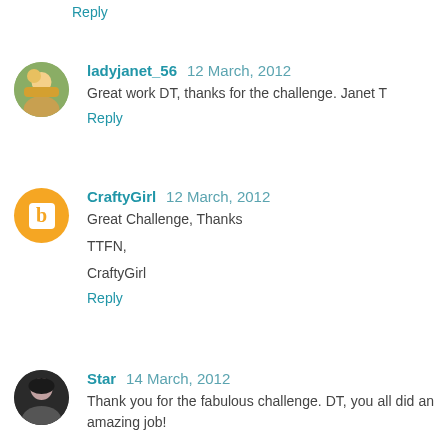Reply
ladyjanet_56  12 March, 2012
Great work DT, thanks for the challenge. Janet T
Reply
CraftyGirl  12 March, 2012
Great Challenge, Thanks

TTFN,

CraftyGirl
Reply
Star  14 March, 2012
Thank you for the fabulous challenge. DT, you all did an amazing job!